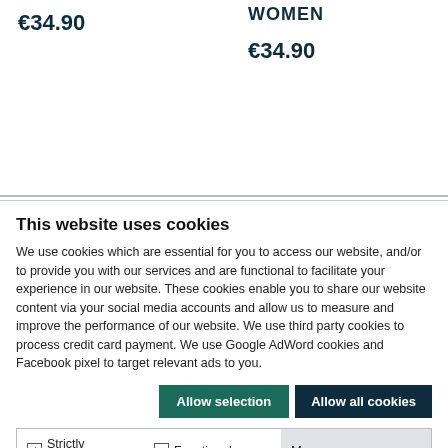€34.90
WOMEN
€34.90
This website uses cookies
We use cookies which are essential for you to access our website, and/or to provide you with our services and are functional to facilitate your experience in our website. These cookies enable you to share our website content via your social media accounts and allow us to measure and improve the performance of our website. We use third party cookies to process credit card payment. We use Google AdWord cookies and Facebook pixel to target relevant ads to you.
Allow selection | Allow all cookies
Strictly Necessary | Functional | Third Party | Advertising | Manage your preference